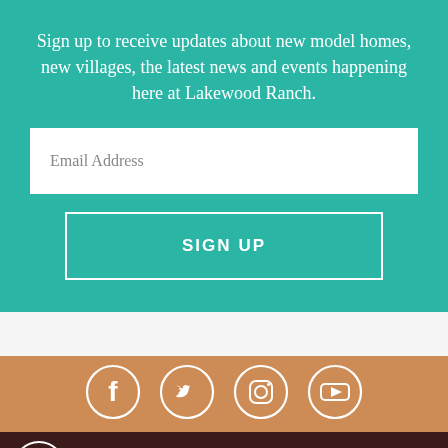Sign up to receive updates about new model homes, new villages, the latest news and events happening here at Lakewood Ranch.
Email Address
SIGN UP
[Figure (infographic): Social media icons in white circles on tan/brown background: Facebook, Twitter, Instagram, YouTube]
[Figure (logo): Accessibility icon in white circle on dark brown background, and partial logo arc shape]